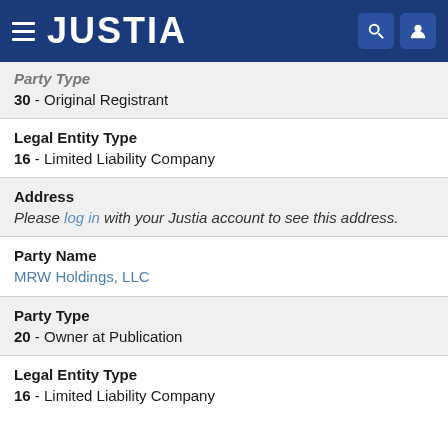JUSTIA
Party Type
30 - Original Registrant
Legal Entity Type
16 - Limited Liability Company
Address
Please log in with your Justia account to see this address.
Party Name
MRW Holdings, LLC
Party Type
20 - Owner at Publication
Legal Entity Type
16 - Limited Liability Company